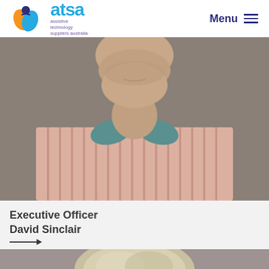ATSA - assistive technology suppliers australia | Menu
[Figure (photo): Close-up photograph of a middle-aged man from the chin down, wearing a pink/white striped shirt with a teal collar visible, against a grey-brown background]
Executive Officer
David Sinclair
[Figure (other): Arrow link (horizontal line with arrowhead pointing right)]
[Figure (photo): Photograph of a woman with light blonde/grey hair against a taupe/grey background, shown from shoulders up, partially cropped]